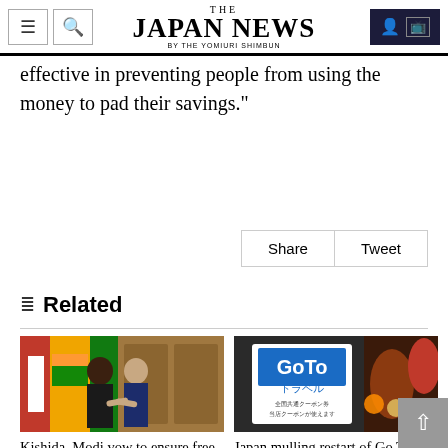THE JAPAN NEWS BY THE YOMIURI SHIMBUN
cash will be diverted into bank accounts," Kon said. "I don't think the voucher system will be very effective in preventing people from using the money to pad their savings."
Share   Tweet
Related
[Figure (photo): Kishida and Modi shaking hands at a formal meeting with flags in background]
Kishida, Modi vow to ensure free and open Indo-Pacific region
[Figure (photo): Go To Travel scheme sign in Japanese showing GoTo travel campaign materials]
Japan mulling restart of Go To Travel scheme in July